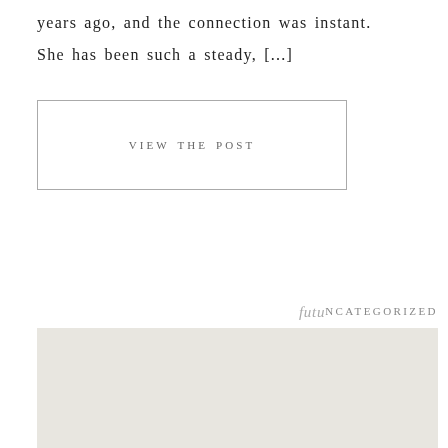years ago, and the connection was instant.
She has been such a steady, [...]
VIEW THE POST
UNCATEGORIZED
[Figure (photo): Light grey/beige image block at the bottom of the page]